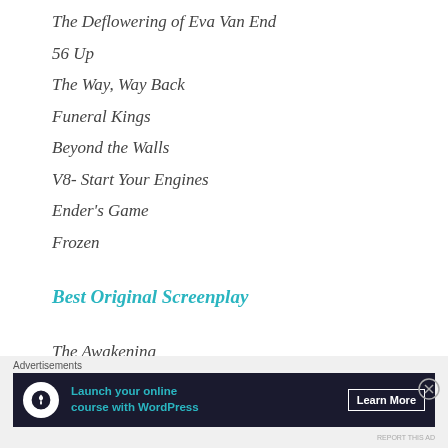The Deflowering of Eva Van End
56 Up
The Way, Way Back
Funeral Kings
Beyond the Walls
V8- Start Your Engines
Ender's Game
Frozen
Best Original Screenplay
The Awakening
Straight A's